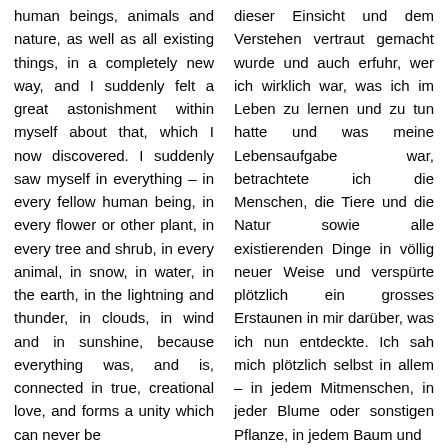human beings, animals and nature, as well as all existing things, in a completely new way, and I suddenly felt a great astonishment within myself about that, which I now discovered. I suddenly saw myself in everything – in every fellow human being, in every flower or other plant, in every tree and shrub, in every animal, in snow, in water, in the earth, in the lightning and thunder, in clouds, in wind and in sunshine, because everything was, and is, connected in true, creational love, and forms a unity which can never be
dieser Einsicht und dem Verstehen vertraut gemacht wurde und auch erfuhr, wer ich wirklich war, was ich im Leben zu lernen und zu tun hatte und was meine Lebensaufgabe war, betrachtete ich die Menschen, die Tiere und die Natur sowie alle existierenden Dinge in völlig neuer Weise und verspürte plötzlich ein grosses Erstaunen in mir darüber, was ich nun entdeckte. Ich sah mich plötzlich selbst in allem – in jedem Mitmenschen, in jeder Blume oder sonstigen Pflanze, in jedem Baum und